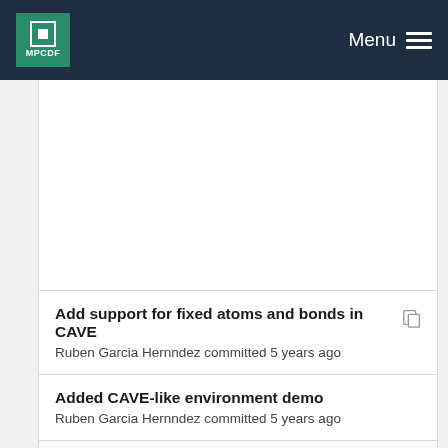MPCDF Menu
Add support for fixed atoms and bonds in CAVE
Ruben Garcia Hernndez committed 5 years ago
Added CAVE-like environment demo
Ruben Garcia Hernndez committed 5 years ago